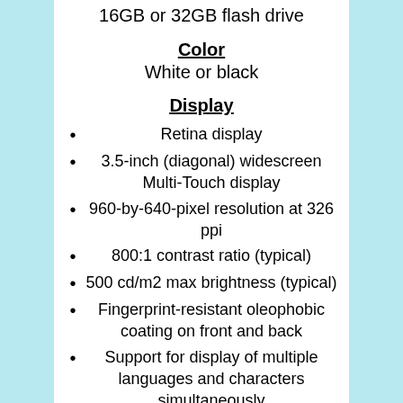16GB or 32GB flash drive
Color
White or black
Display
Retina display
3.5-inch (diagonal) widescreen Multi-Touch display
960-by-640-pixel resolution at 326 ppi
800:1 contrast ratio (typical)
500 cd/m2 max brightness (typical)
Fingerprint-resistant oleophobic coating on front and back
Support for display of multiple languages and characters simultaneously
Audio playback
Frequency response: 20Hz to